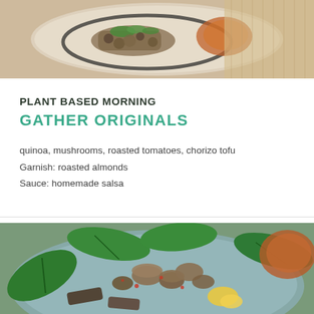[Figure (photo): Food photo showing a plate with cooked items, garnished with herbs, on a woven mat background]
PLANT BASED MORNING
GATHER ORIGINALS
quinoa, mushrooms, roasted tomatoes, chorizo tofu
Garnish: roasted almonds
Sauce: homemade salsa
[Figure (photo): Bowl of spinach leaves with sautéed mushrooms, vegetables, and yellow garnish on top]